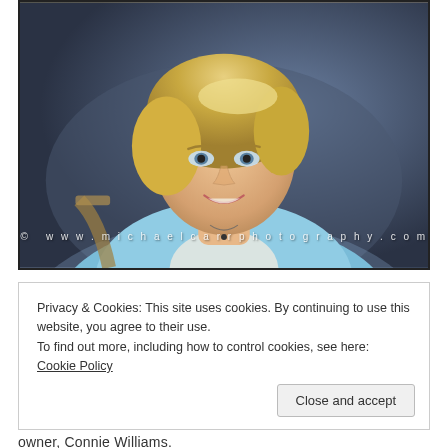[Figure (photo): Professional portrait photograph of a blonde woman in a light blue top, smiling, with a dark blurred background. Watermark reads: © www.michaelcarrphotography.com]
Privacy & Cookies: This site uses cookies. By continuing to use this website, you agree to their use.
To find out more, including how to control cookies, see here: Cookie Policy
Close and accept
owner, Connie Williams.